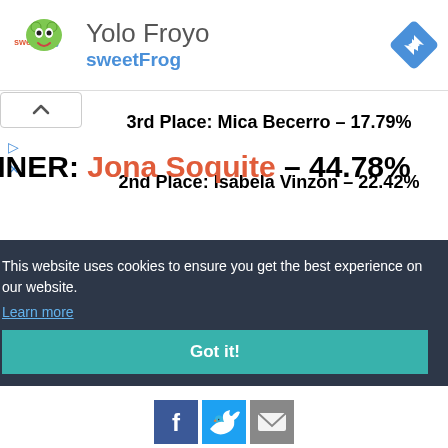[Figure (logo): sweetFrog logo with ad unit showing Yolo Froyo sweetFrog business listing and navigation arrow icon]
3rd Place: Mica Becerro – 17.79%
2nd Place: Isabela Vinzon – 22.42%
WINNER: Jona Soquite – 44.78%
This website uses cookies to ensure you get the best experience on our website.
Learn more
Got it!
[Figure (infographic): Social sharing icons: Facebook (blue), Twitter (light blue), Email (gray)]